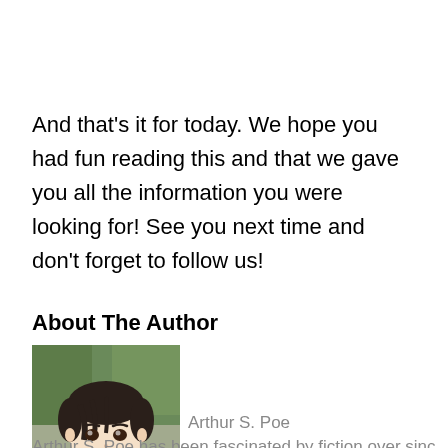And that's it for today. We hope you had fun reading this and that we gave you all the information you were looking for! See you next time and don't forget to follow us!
About The Author
[Figure (photo): Anime-style illustration of a young male character with dark hair, used as the author avatar photo]
Arthur S. Poe
Arthur S. Poe has been fascinated by fiction over sinc